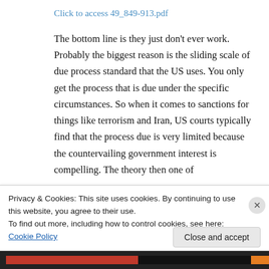Click to access 49_849-913.pdf
The bottom line is they just don't ever work. Probably the biggest reason is the sliding scale of due process standard that the US uses. You only get the process that is due under the specific circumstances. So when it comes to sanctions for things like terrorism and Iran, US courts typically find that the process due is very limited because the countervailing government interest is compelling. The theory then one of
Privacy & Cookies: This site uses cookies. By continuing to use this website, you agree to their use.
To find out more, including how to control cookies, see here: Cookie Policy
Close and accept